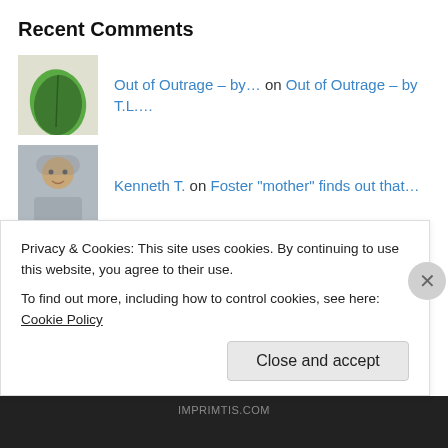Recent Comments
Out of Outrage – by… on Out of Outrage – by T.L.…
Kenneth T. on Foster “mother” finds out that…
Kenneth T. on 1,200 Scientists and Professio…
Kenneth T. on The Ruby Ridge Siege: The Forg…
Kenneth T. on Public School Revolutionaries…
Privacy & Cookies: This site uses cookies. By continuing to use this website, you agree to their use.
To find out more, including how to control cookies, see here: Cookie Policy
Close and accept